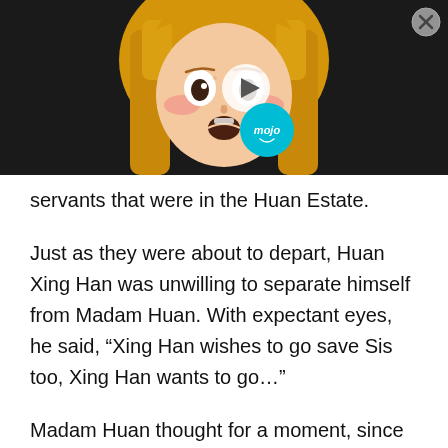[Figure (screenshot): Video thumbnail showing an anime girl character with blonde hair and wide eyes, with a play button overlay, mojo logo, and close button in top right corner on black background.]
servants that were in the Huan Estate.
Just as they were about to depart, Huan Xing Han was unwilling to separate himself from Madam Huan. With expectant eyes, he said, “Xing Han wishes to go save Sis too, Xing Han wants to go…”
Madam Huan thought for a moment, since all